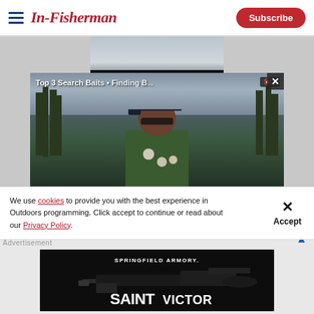In-Fisherman — Subscribe
[Figure (screenshot): Video player showing 'Top 3 Search Baits for Finding B...' with a man in a green shirt and cap holding fishing lures near a swamp/wetland. Video controls show 00:00 / 03:41. A close button (X) appears top right of the video overlay.]
We use cookies to provide you with the best experience in Outdoors programming. Click accept to continue or read about our Privacy Policy.
[Figure (screenshot): Advertisement banner for Springfield Armory SAINT VICTOR rifle. Dark background with rifle image and white text.]